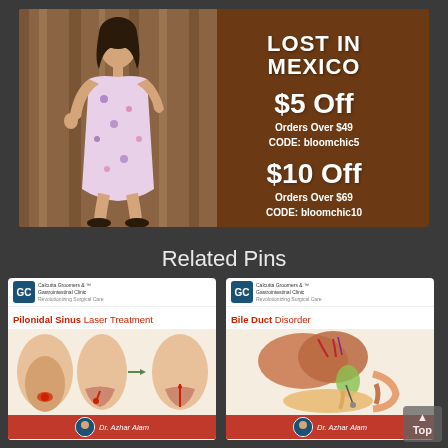[Figure (advertisement): Fashion advertisement for BloomChic featuring a woman in a floral dress. Brown background with text: LOST IN MEXICO, $5 Off Orders Over $49 CODE: bloomchic5, $10 Off Orders Over $69 CODE: bloomchic10]
Related Pins
[Figure (illustration): Medical illustration card titled 'Pilonidal Sinus Laser Treatment' by Dr. Azhar Alam, Consultant Gastroenterologist, Advanced Laparoscopic & Laser Surgeon, ABKJ Hospital, Mudumalapur. Shows anatomical diagrams of pilonidal sinus.]
[Figure (illustration): Medical illustration card titled 'Bile Duct Disorder' by Dr. Azhar Alam, Consultant Gastroenterologist, Advanced Laparoscopic & Laser Surgeon, ABKJ Hospital, Mudumalapur. Shows anatomical diagram of bile duct and pancreas.]